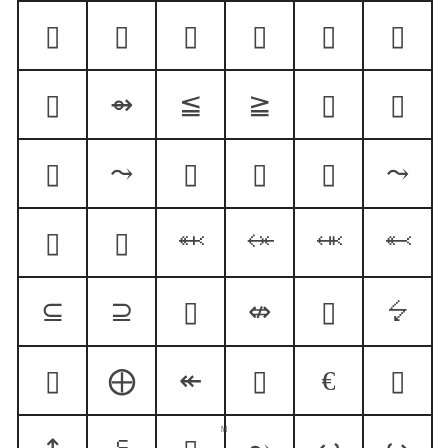[Figure (other): A 7-row by 6-column grid of mathematical/arrow symbols displayed in bordered cells. Each cell contains a mathematical arrow or relation symbol. Many cells show placeholder rectangles (encoding issues) while others show: triple-right arrow, left-double arrow with equals, right-double arrow with tilde-equals, right-double tilde arrow, left-tilde arrow, right-tilde arrow, left-plus arrow, right-plus arrow, left-circle arrow subset, right-circle arrow superset, circle-plus right arrow, left-double arrow (bold), left-angle arrow, left-euro arrow, up-circle arrow, equals-like symbol, right-tilde-wave arrow, left-hook arrow, right-hook arrow, left-circle dot arrow, right-asterisk arrow.]
M